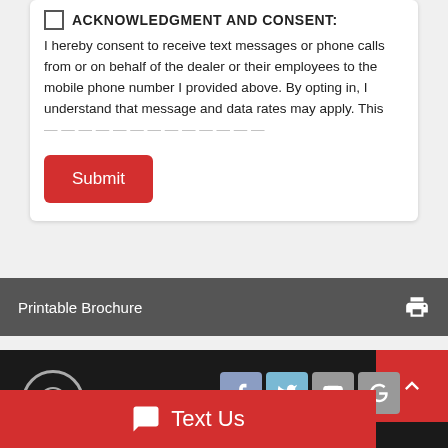ACKNOWLEDGMENT AND CONSENT: I hereby consent to receive text messages or phone calls from or on behalf of the dealer or their employees to the mobile phone number I provided above. By opting in, I understand that message and data rates may apply. This ...
Submit
Printable Brochure
Text Us